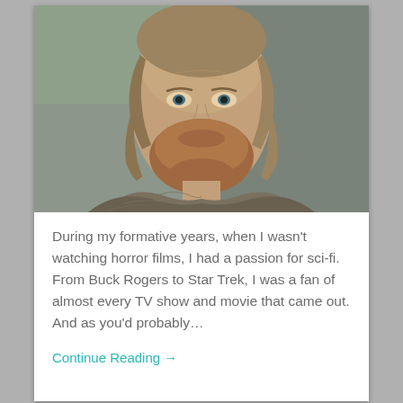[Figure (photo): Close-up photo of a middle-aged man with brownish-red beard and medium-length hair, wearing a rough grey hooded cloak, looking directly at the camera with a serious expression. Stone ruins visible in background.]
During my formative years, when I wasn't watching horror films, I had a passion for sci-fi. From Buck Rogers to Star Trek, I was a fan of almost every TV show and movie that came out. And as you'd probably…
Continue Reading →